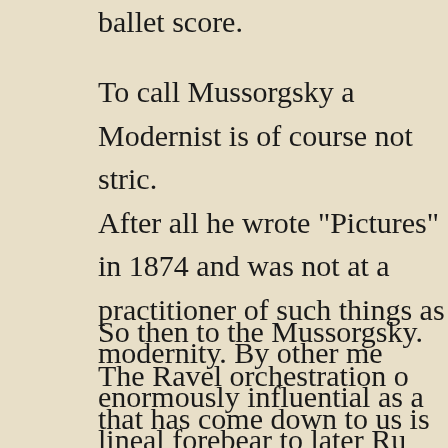ballet score.
To call Mussorgsky a Modernist is of course not stric. After all he wrote "Pictures" in 1874 and was not at a practitioner of such things as modernity. By other me enormously influential as a lineal forebear to later Ru modernist masters like Stravinsky and Prokofiev. So juxtaposition of Mussorgsky's "Pictures" and Prokof "Cinderella" seems very appropriate and stylistically synonymous.
So then to the Mussorgsky. The Ravel orchestration o that has come down to us is brilliant and seemingly b good and all our idea of what the orchestral version s like. It of course bears the stamp of Ravel's impressio which gives certain movements great color. The Ser